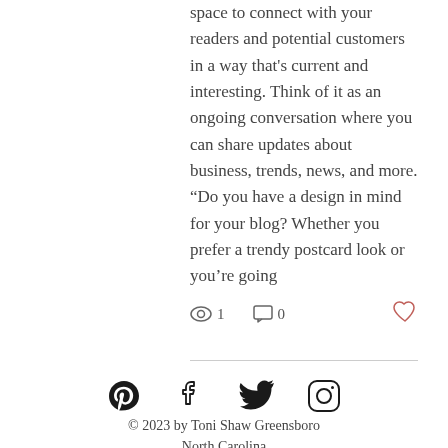space to connect with your readers and potential customers in a way that's current and interesting. Think of it as an ongoing conversation where you can share updates about business, trends, news, and more. “Do you have a design in mind for your blog? Whether you prefer a trendy postcard look or you’re going
views: 1  comments: 0  likes: 0
[Figure (infographic): Social media icons: Pinterest, Facebook, Twitter, Instagram]
© 2023 by Toni Shaw Greensboro North Carolina